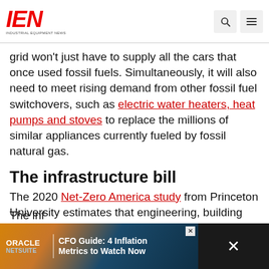IEN – Industrial Equipment News
grid won't just have to supply all the cars that once used fossil fuels. Simultaneously, it will also need to meet rising demand from other fossil fuel switchovers, such as electric water heaters, heat pumps and stoves to replace the millions of similar appliances currently fueled by fossil natural gas.
The infrastructure bill
The 2020 Net-Zero America study from Princeton University estimates that engineering, building and supplying a low-carbon grid that could displace most fossil fuel uses would require an investment of around $600 billion by 2030.
The inf
[Figure (other): Oracle NetSuite advertisement banner: CFO Guide: 4 Inflation Metrics to Watch Now]